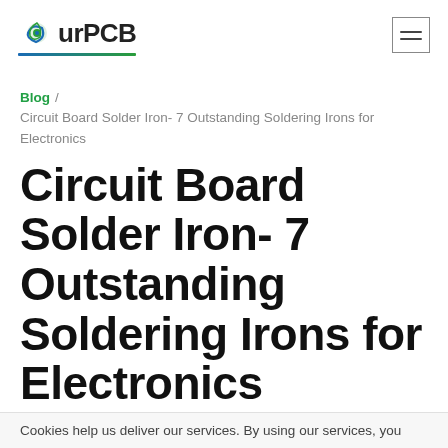OurPCB [logo]
Blog / Circuit Board Solder Iron- 7 Outstanding Soldering Irons for Electronics
Circuit Board Solder Iron- 7 Outstanding Soldering Irons for Electronics
Cookies help us deliver our services. By using our services, you